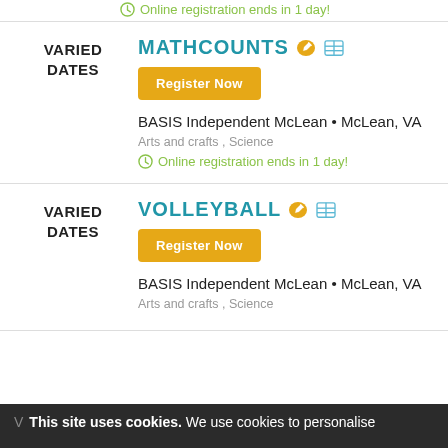Online registration ends in 1 day!
VARIED DATES
MATHCOUNTS
Register Now
BASIS Independent McLean • McLean, VA
Arts and crafts , Science
Online registration ends in 1 day!
VARIED DATES
VOLLEYBALL
Register Now
BASIS Independent McLean • McLean, VA
Arts and crafts , Science
This site uses cookies. We use cookies to personalise